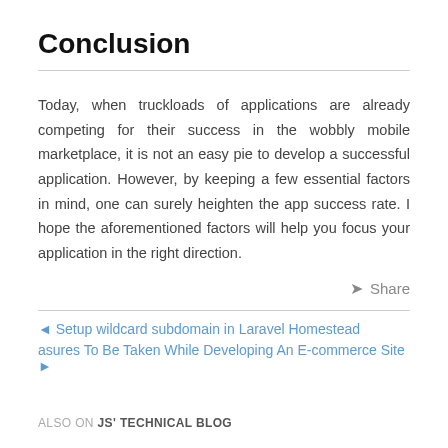Conclusion
Today, when truckloads of applications are already competing for their success in the wobbly mobile marketplace, it is not an easy pie to develop a successful application. However, by keeping a few essential factors in mind, one can surely heighten the app success rate. I hope the aforementioned factors will help you focus your application in the right direction.
◄ Setup wildcard subdomain in Laravel Homestead
asures To Be Taken While Developing An E-commerce Site ►
ALSO ON JS' TECHNICAL BLOG